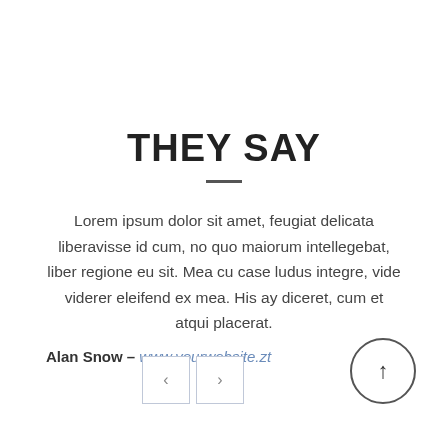THEY SAY
Lorem ipsum dolor sit amet, feugiat delicata liberavisse id cum, no quo maiorum intellegebat, liber regione eu sit. Mea cu case ludus integre, vide viderer eleifend ex mea. His ay diceret, cum et atqui placerat.
Alan Snow – www.yourwebsite.zt
[Figure (other): Navigation previous and next arrow buttons (left and right chevrons in square outlines) and a circular up-arrow button]